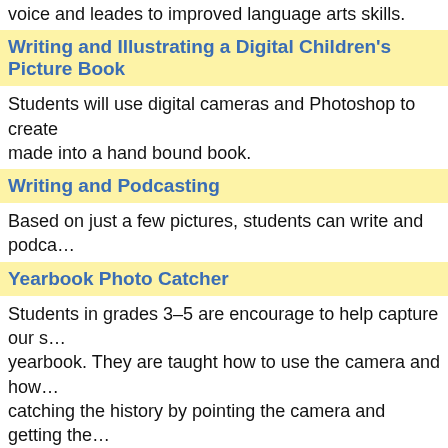voice and leades to improved language arts skills.
Writing and Illustrating a Digital Children's Picture Book
Students will use digital cameras and Photoshop to create … made into a hand bound book.
Writing and Podcasting
Based on just a few pictures, students can write and podca…
Yearbook Photo Catcher
Students in grades 3–5 are encourage to help capture our s… yearbook. They are taught how to use the camera and how … catching the history by pointing the camera and getting the…
Yes We Can! Students with Autism & Downs-Syndrome on…
Students with profound special needs, such as autism, Dow… conditions, will participate in a variety of exciting experientia… Karaoke type music, and using American Sign Language to e… via video and digital pictures and shown to the school body…
You Can Do It: Creating How-To Videos